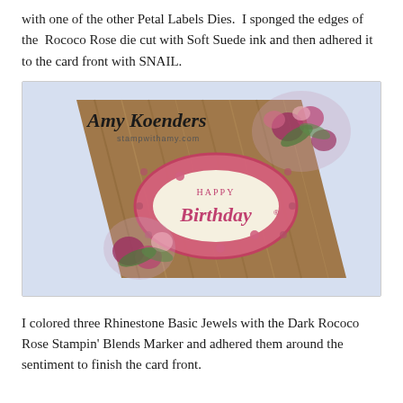with one of the other Petal Labels Dies. I sponged the edges of the Rococo Rose die cut with Soft Suede ink and then adhered it to the card front with SNAIL.
[Figure (photo): A handmade birthday card featuring a wood-grain background, floral arrangement with pink roses and green leaves, and a pink decorative label die cut with 'Happy Birthday' sentiment in the center. The card is photographed at an angle against a light blue background. The watermark reads 'Amy Koenders stampwithamy.com'.]
I colored three Rhinestone Basic Jewels with the Dark Rococo Rose Stampin' Blends Marker and adhered them around the sentiment to finish the card front.